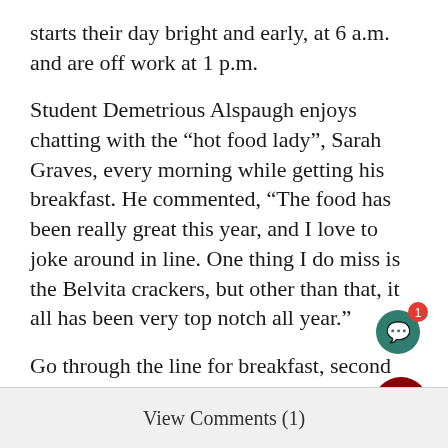starts their day bright and early, at 6 a.m. and are off work at 1 p.m.
Student Demetrious Alspaugh enjoys chatting with the “hot food lady”, Sarah Graves, every morning while getting his breakfast. He commented, “The food has been really great this year, and I love to joke around in line. One thing I do miss is the Belvita crackers, but other than that, it all has been very top notch all year.”
Go through the line for breakfast, second breakfast, or lunch to get good food and welcome arms.
View Comments (1)